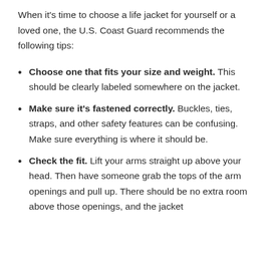When it's time to choose a life jacket for yourself or a loved one, the U.S. Coast Guard recommends the following tips:
Choose one that fits your size and weight. This should be clearly labeled somewhere on the jacket.
Make sure it's fastened correctly. Buckles, ties, straps, and other safety features can be confusing. Make sure everything is where it should be.
Check the fit. Lift your arms straight up above your head. Then have someone grab the tops of the arm openings and pull up. There should be no extra room above those openings, and the jacket